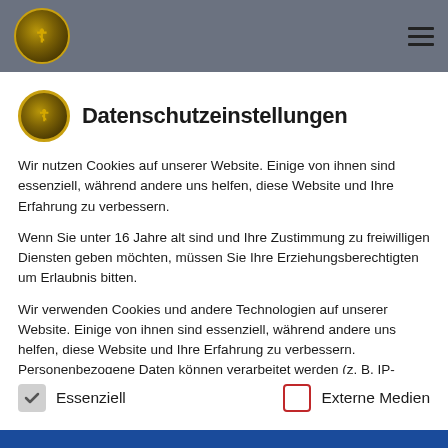Header with logo and hamburger menu
Datenschutzeinstellungen
Wir nutzen Cookies auf unserer Website. Einige von ihnen sind essenziell, während andere uns helfen, diese Website und Ihre Erfahrung zu verbessern.
Wenn Sie unter 16 Jahre alt sind und Ihre Zustimmung zu freiwilligen Diensten geben möchten, müssen Sie Ihre Erziehungsberechtigten um Erlaubnis bitten.
Wir verwenden Cookies und andere Technologien auf unserer Website. Einige von ihnen sind essenziell, während andere uns helfen, diese Website und Ihre Erfahrung zu verbessern. Personenbezogene Daten können verarbeitet werden (z. B. IP-Adressen), z. B. für personalisierte Anzeigen
Essenziell
Externe Medien